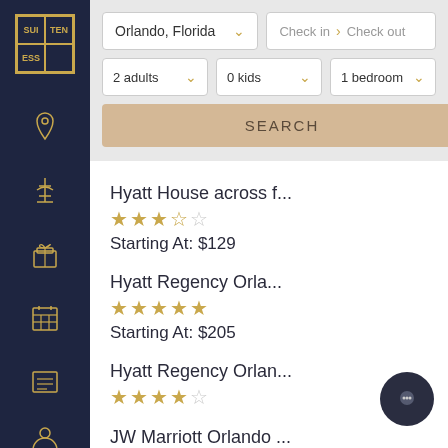[Figure (screenshot): Suiteness app logo with letters SUI/TEN/ESS in a bordered grid on dark navy sidebar]
Orlando, Florida
Check in > Check out
2 adults
0 kids
1 bedroom
SEARCH
Hyatt House across f...
Starting At: $129
Hyatt Regency Orla...
Starting At: $205
Hyatt Regency Orlan...
JW Marriott Orlando ...